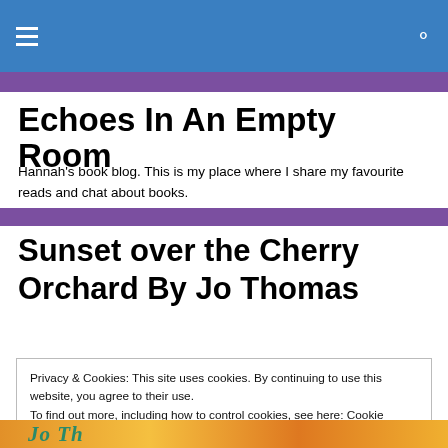≡  🔍
Echoes In An Empty Room
Hannah's book blog. This is my place where I share my favourite reads and chat about books.
Sunset over the Cherry Orchard By Jo Thomas
Privacy & Cookies: This site uses cookies. By continuing to use this website, you agree to their use.
To find out more, including how to control cookies, see here: Cookie Policy
Close and accept